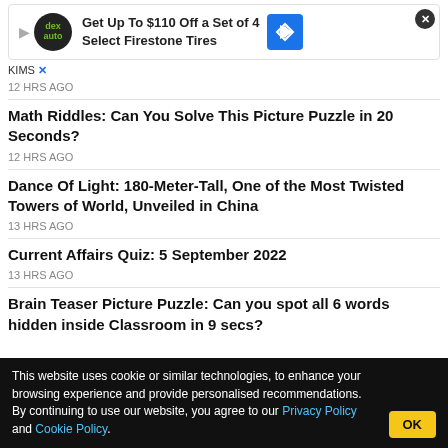[Figure (screenshot): Advertisement banner: 'Get Up To $110 Off a Set of 4 Select Firestone Tires' with Dex auto logo and navigation icon]
KIMS X
12 HRS AGO
Math Riddles: Can You Solve This Picture Puzzle in 20 Seconds?
12 HRS AGO
Dance Of Light: 180-Meter-Tall, One of the Most Twisted Towers of World, Unveiled in China
13 HRS AGO
Current Affairs Quiz: 5 September 2022
13 HRS AGO
Brain Teaser Picture Puzzle: Can you spot all 6 words hidden inside Classroom in 9 secs?
This website uses cookie or similar technologies, to enhance your browsing experience and provide personalised recommendations. By continuing to use our website, you agree to our Privacy Policy and Cookie Policy.